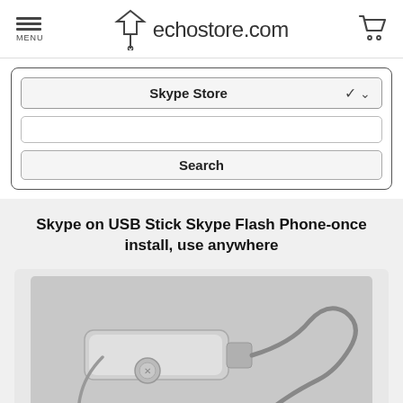MENU | echostore.com
Skype Store (dropdown)
Search (button)
Skype on USB Stick Skype Flash Phone-once install, use anywhere
[Figure (photo): Photo of a silver USB stick / Skype Flash Phone device with a coiled gray cable and earphone/microphone attached, on a gray background]